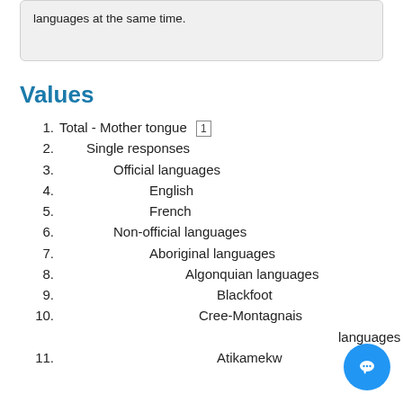languages at the same time.
Values
1. Total - Mother tongue [1]
2. Single responses
3. Official languages
4. English
5. French
6. Non-official languages
7. Aboriginal languages
8. Algonquian languages
9. Blackfoot
10. Cree-Montagnais languages
11. Atikamekw